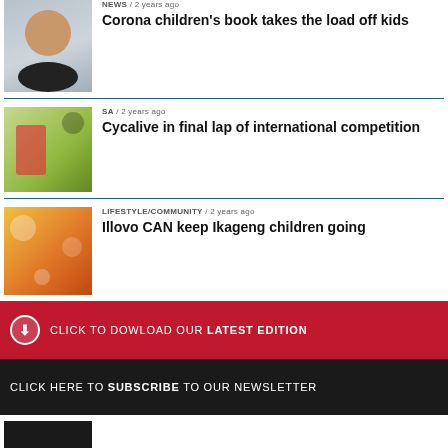[Figure (photo): Headshot of a man in a suit, smiling]
NEWS / 2 years ago
Corona children’s book takes the load off kids
[Figure (photo): Group of cyclists celebrating outdoors]
SA / 2 years ago
Cycalive in final lap of international competition
[Figure (photo): Colorful cans and food items stacked together]
LIFESTYLE/COMMUNITY / 2 years ago
Illovo CAN keep Ikageng children going
CLICK TO DOWLOAD OUR LATEST EDITION
CLICK HERE TO SUBSCRIBE TO OUR NEWSLETTER